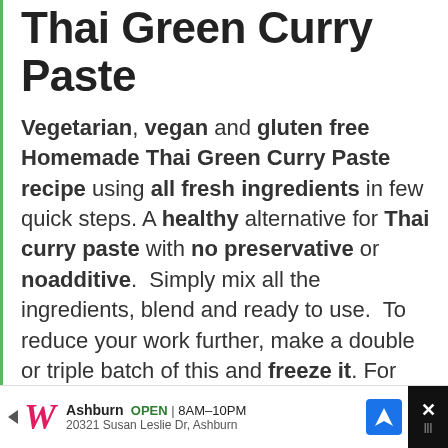Thai Green Curry Paste
Vegetarian, vegan and gluten free Homemade Thai Green Curry Paste recipe using all fresh ingredients in few quick steps. A healthy alternative for Thai curry paste with no preservative or noadditive. Simply mix all the ingredients, blend and ready to use. To reduce your work further, make a double or triple batch of this and freeze it. For your next dish where you want to use the same
Ashburn OPEN | 8AM–10PM | 20321 Susan Leslie Dr, Ashburn